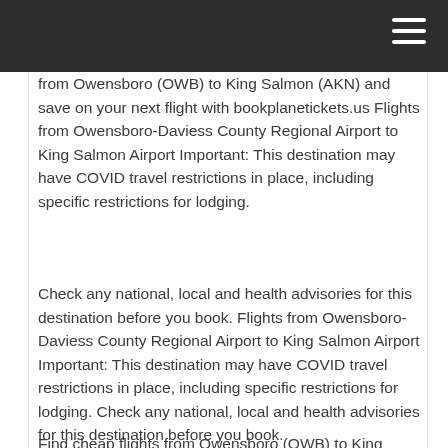from Owensboro (OWB) to King Salmon (AKN) and save on your next flight with bookplanetickets.us Flights from Owensboro-Daviess County Regional Airport to King Salmon Airport Important: This destination may have COVID travel restrictions in place, including specific restrictions for lodging.
Check any national, local and health advisories for this destination before you book. Flights from Owensboro-Daviess County Regional Airport to King Salmon Airport Important: This destination may have COVID travel restrictions in place, including specific restrictions for lodging. Check any national, local and health advisories for this destination before you book.
Find cheap flights from Owensboro (OWB) to King Salmon (AKN) from only. With COVID situation, few